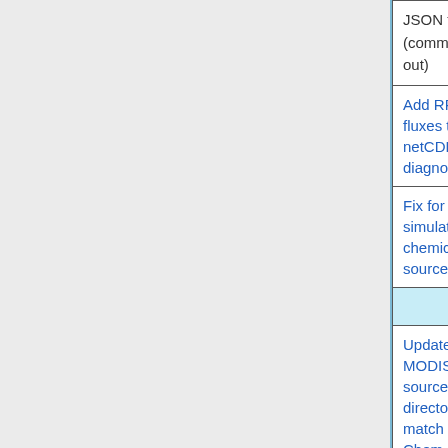| Feature | Submitted by | Type |
| --- | --- | --- |
| JSON format (commented out) |  |  |
| Add RRTMG fluxes to netCDF diagnostics | Bob Yantosca (GCST) | Structural |
| Fix for CO2 simulation chemical source | Beata Bukosa (U. Wollongong) | Bug fix |
| Features affecting GCHP only |  |  |
| Update MODIS LAI source directory to match GEOS-Chem Classic | GCST | Bug fix |